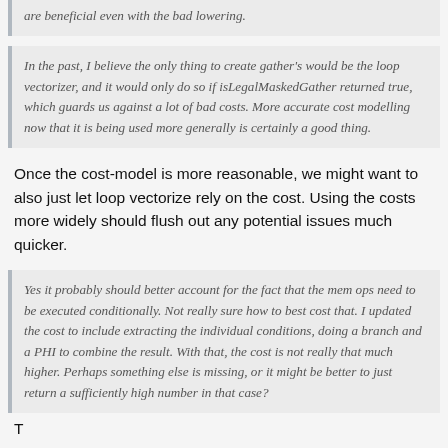are beneficial even with the bad lowering.
In the past, I believe the only thing to create gather's would be the loop vectorizer, and it would only do so if isLegalMaskedGather returned true, which guards us against a lot of bad costs. More accurate cost modelling now that it is being used more generally is certainly a good thing.
Once the cost-model is more reasonable, we might want to also just let loop vectorize rely on the cost. Using the costs more widely should flush out any potential issues much quicker.
Yes it probably should better account for the fact that the mem ops need to be executed conditionally. Not really sure how to best cost that. I updated the cost to include extracting the individual conditions, doing a branch and a PHI to combine the result. With that, the cost is not really that much higher. Perhaps something else is missing, or it might be better to just return a sufficiently high number in that case?